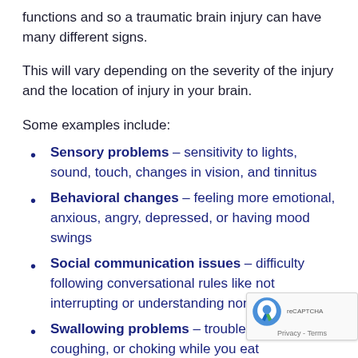functions and so a traumatic brain injury can have many different signs.
This will vary depending on the severity of the injury and the location of injury in your brain.
Some examples include:
Sensory problems – sensitivity to lights, sound, touch, changes in vision, and tinnitus
Behavioral changes – feeling more emotional, anxious, angry, depressed, or having mood swings
Social communication issues – difficulty following conversational rules like not interrupting or understanding nonverbal cues
Swallowing problems – trouble chewing, coughing, or choking while you eat
Physical challenges – headaches, dizziness, vomiting, vertigo, muscle weakness, and fainti
Thinking challenges – difficulty with memory, paying